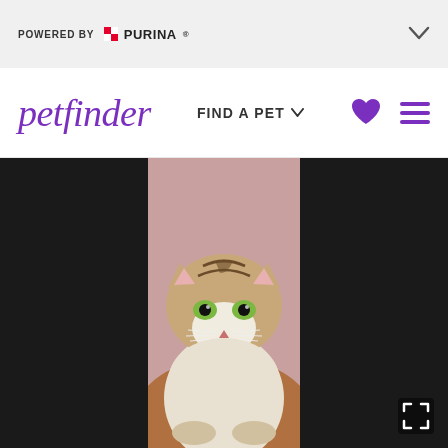POWERED BY PURINA
petfinder
FIND A PET
[Figure (photo): Close-up photo of a long-haired tabby cat with green eyes and white and brown fur, sitting against a pink background on the Petfinder website]